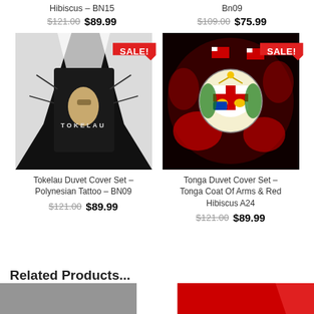Hibiscus – BN15
$121.00  $89.99
Bn09
$109.00  $75.99
[Figure (photo): Tokelau Duvet Cover Set black and white Polynesian tattoo design with SALE! badge]
[Figure (photo): Tonga Duvet Cover Set dark red with Tonga Coat of Arms and red hibiscus design with SALE! badge]
Tokelau Duvet Cover Set – Polynesian Tattoo – BN09
$121.00  $89.99
Tonga Duvet Cover Set – Tonga Coat Of Arms & Red Hibiscus A24
$121.00  $89.99
Related Products...
[Figure (photo): Partial thumbnail of a product image on the left]
[Figure (photo): Partial thumbnail of a product image on the right with red SALE badge]